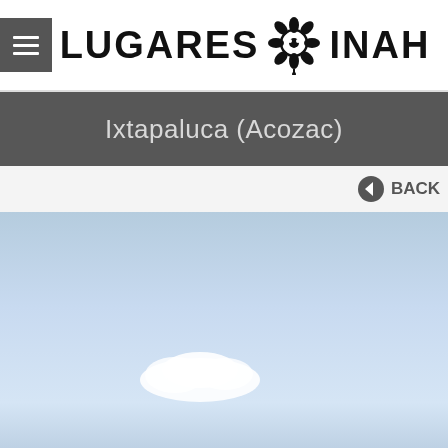LUGARES INAH
Ixtapaluca (Acozac)
BACK
[Figure (photo): Sky photograph with light blue sky and a single white cloud, part of the Ixtapaluca (Acozac) archaeological site page on the INAH website.]